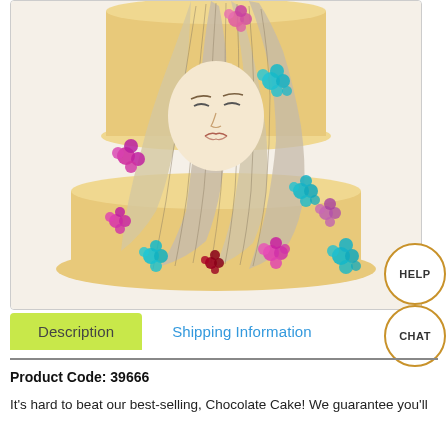[Figure (illustration): A decorative tiered cake featuring an illustration of a woman with long flowing light-colored hair adorned with colorful pink, magenta, and turquoise flowers. The cake is a warm golden/yellow color with the hair and floral artwork flowing down its sides.]
HELP
CHAT
Description
Shipping Information
Product Code: 39666
It's hard to beat our best-selling, Chocolate Cake! We guarantee you'll